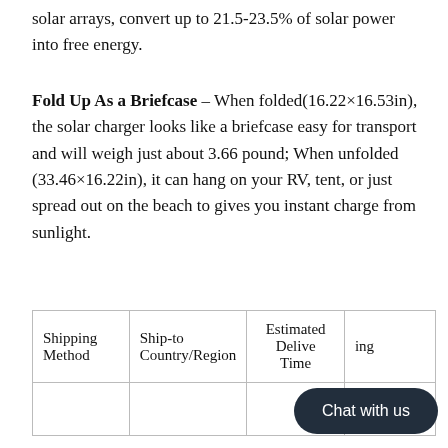solar arrays, convert up to 21.5-23.5% of solar power into free energy.
Fold Up As a Briefcase – When folded(16.22×16.53in), the solar charger looks like a briefcase easy for transport and will weigh just about 3.66 pound; When unfolded (33.46×16.22in), it can hang on your RV, tent, or just spread out on the beach to gives you instant charge from sunlight.
| Shipping Method | Ship-to Country/Region | Estimated Delivery Time | Shipping |
| --- | --- | --- | --- |
|  |  |  |  |